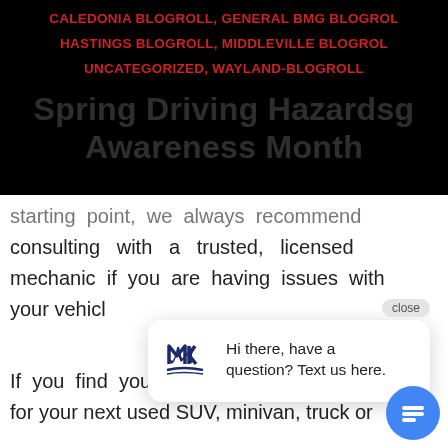CALEDONIA BLOGROLL, GENERAL BMG BLOGROLL, HASTINGS BLOGROLL, MIDDLEVILLE BLOGROLL, UNCATEGORIZED, WAYLAND-BLOGROLL
Spring Driving Hazards Awareness Month
starting point, we always recommend consulting with a trusted, licensed mechanic if you are having issues with your vehicl
[Figure (screenshot): Chat widget popup showing a logo (MK with a car/boat icon) and text 'Hi there, have a question? Text us here.' with a close button and a blue circular chat button.]
If you find yourself this spring searching for your next used SUV, minivan, truck or